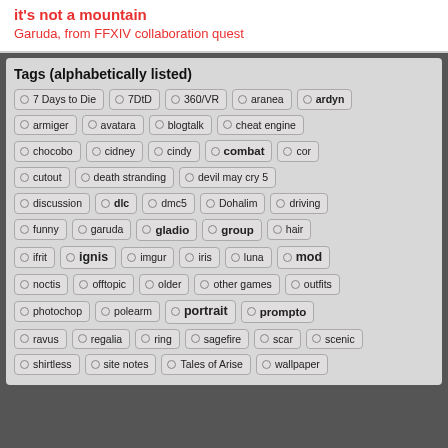it's not a mountain
Garuda, from FFXIV collaboration quest
Tags (alphabetically listed)
7 Days to Die
7DtD
360/VR
aranea
ardyn
armiger
avatara
blogtalk
cheat engine
chocobo
cidney
cindy
combat
cor
cutout
death stranding
devil may cry 5
discussion
dlc
dmc5
Dohalim
driving
funny
garuda
gladio
group
hair
ifrit
ignis
imgur
iris
luna
mod
noctis
offtopic
older
other games
outfits
photochop
polearm
portrait
prompto
ravus
regalia
ring
sagefire
scar
scenic
shirtless
site notes
Tales of Arise
wallpaper